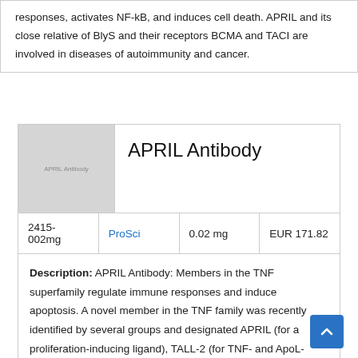responses, activates NF-kB, and induces cell death. APRIL and its close relative of BlyS and their receptors BCMA and TACI are involved in diseases of autoimmunity and cancer.
APRIL Antibody
[Figure (photo): Placeholder image labeled APRIL Antibody with grey background]
| Catalog | Vendor | Size | Price |
| --- | --- | --- | --- |
| 2415-002mg | ProSci | 0.02 mg | EUR 171.82 |
Description: APRIL Antibody: Members in the TNF superfamily regulate immune responses and induce apoptosis. A novel member in the TNF family was recently identified by several groups and designated APRIL (for a proliferation-inducing ligand), TALL-2 (for TNF- and ApoL-related Leukocyte-expressed Ligand 2), and TRDL-1α (for TNF related death ligand 1α) in human and mouse. Two receptors for APRIL were